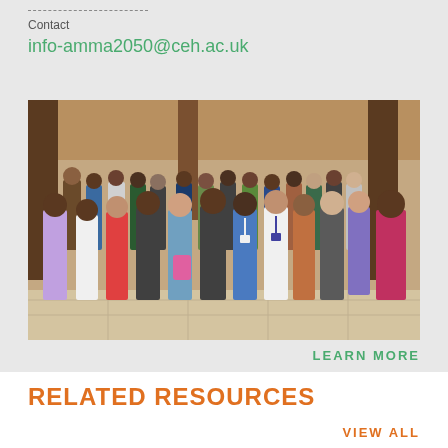Contact
info-amma2050@ceh.ac.uk
[Figure (photo): Group photo of approximately 40 researchers standing together in front of a building entrance, a mix of African and European participants at what appears to be a workshop or conference]
LEARN MORE
RELATED RESOURCES
VIEW ALL